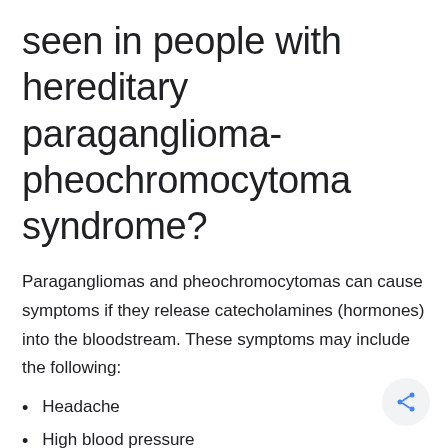seen in people with hereditary paraganglioma-pheochromocytoma syndrome?
Paragangliomas and pheochromocytomas can cause symptoms if they release catecholamines (hormones) into the bloodstream. These symptoms may include the following:
Headache
High blood pressure
Excessive sweating